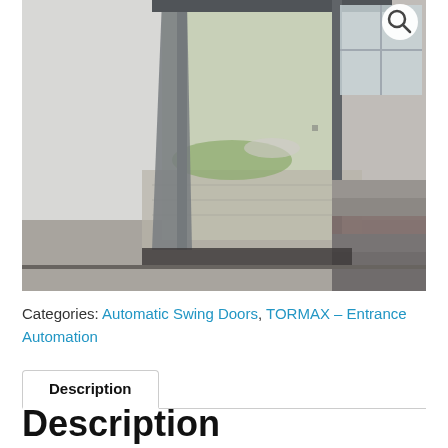[Figure (photo): Interior view of an automatic swing door (TORMAX) showing a glass and metal swing door open, with a paved exterior walkway, green lawn, parked car, and stairs visible inside the building lobby.]
Categories: Automatic Swing Doors, TORMAX – Entrance Automation
Description
Description